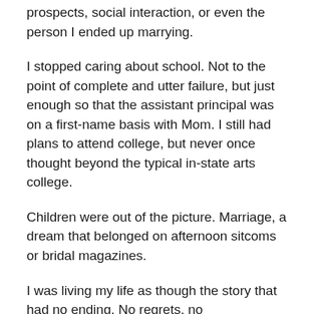prospects, social interaction, or even the person I ended up marrying.
I stopped caring about school. Not to the point of complete and utter failure, but just enough so that the assistant principal was on a first-name basis with Mom. I still had plans to attend college, but never once thought beyond the typical in-state arts college.
Children were out of the picture. Marriage, a dream that belonged on afternoon sitcoms or bridal magazines.
I was living my life as though the story that had no ending. No regrets, no consequences, and no clue.
My mother always told me that I was going to change my mind. She assured me in that tone that makes teenage eyes do backflips inside their sockets. After I got